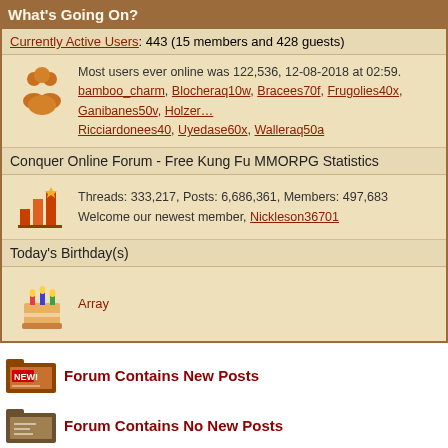What's Going On?
Currently Active Users: 443 (15 members and 428 guests)
Most users ever online was 122,536, 12-08-2018 at 02:59. bamboo_charm, Blocheraq10w, Bracees70f, Frugolies40x, Ganibanes50v, Holzer… Ricciardonees40, Uyedase60x, Walleraq50a
Conquer Online Forum - Free Kung Fu MMORPG Statistics
Threads: 333,217, Posts: 6,686,361, Members: 497,683
Welcome our newest member, Nickleson36701
Today's Birthday(s)
Array
Forum Contains New Posts
Forum Contains No New Posts
All times are G…
-- LegendsReturn
Copyright © 2003-2022 99.com